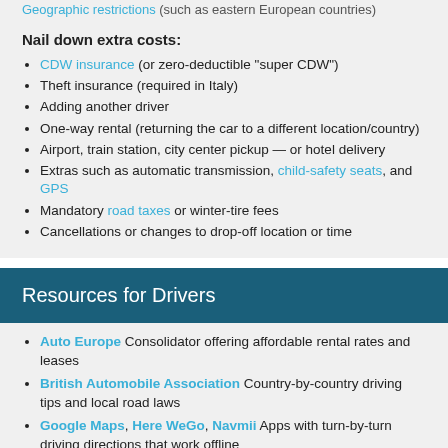Nail down extra costs:
CDW insurance (or zero-deductible "super CDW")
Theft insurance (required in Italy)
Adding another driver
One-way rental (returning the car to a different location/country)
Airport, train station, city center pickup — or hotel delivery
Extras such as automatic transmission, child-safety seats, and GPS
Mandatory road taxes or winter-tire fees
Cancellations or changes to drop-off location or time
Resources for Drivers
Auto Europe Consolidator offering affordable rental rates and leases
British Automobile Association Country-by-country driving tips and local road laws
Google Maps, Here WeGo, Navmii Apps with turn-by-turn driving directions that work offline
Via Michelin and Google Maps Reliable route planners with estimated driving times and distances
Waze Crowd-sourced navigation and traffic info, including cheapest